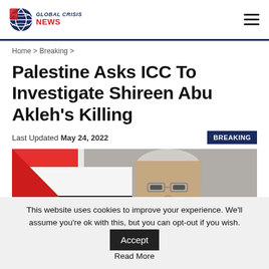GLOBAL CRISIS NEWS
Home > Breaking >
Palestine Asks ICC To Investigate Shireen Abu Akleh’s Killing
Last Updated May 24, 2022
[Figure (photo): A man with white hair and glasses speaking in front of a Palestinian flag (red, white, black, green)]
This website uses cookies to improve your experience. We'll assume you're ok with this, but you can opt-out if you wish. Accept
Read More